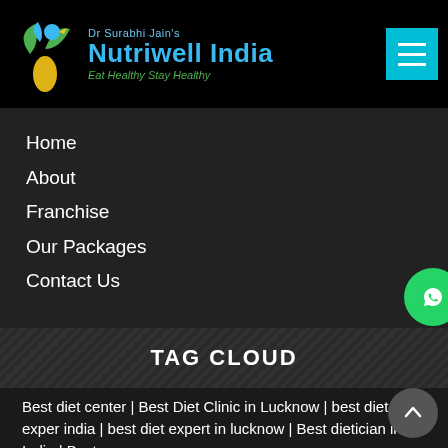Dr Surabhi Jain's Nutriwell India — Eat Healthy Stay Healthy
Home
About
Franchise
Our Packages
Contact Us
TAG CLOUD
Best diet center | Best Diet Clinic in Lucknow | best diet exper india | best diet expert in lucknow | Best dietician in India | Best